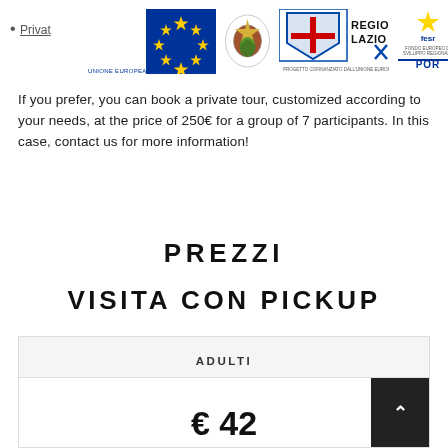[Figure (logo): Row of institutional logos: EU flag (UNIONE EUROPEA), Italian Republic emblem, Regione Lazio logo, FESR/POR logo]
Privat
If you prefer, you can book a private tour, customized according to your needs, at the price of 250€ for a group of 7 participants. In this case, contact us for more information!
PREZZI
VISITA CON PICKUP
| ADULTI |
| --- |
| € 42 |